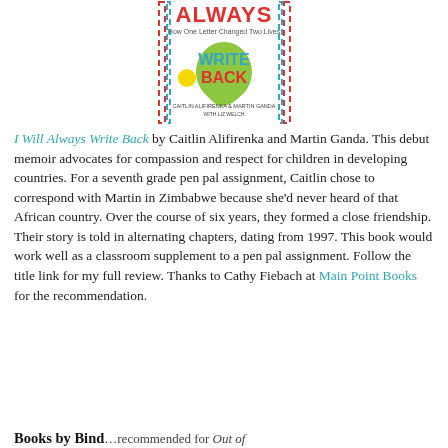[Figure (illustration): Book cover of 'I Will Always Write Back: How One Letter Changed Two Lives' by Caitlin Alifirenka and Martin Ganda with Liz Welch. Cover features bold red 'Always' text at top, blue 'Write Back' text, a green Africa silhouette, and a dashed border in red and blue.]
I Will Always Write Back by Caitlin Alifirenka and Martin Ganda. This debut memoir advocates for compassion and respect for children in developing countries. For a seventh grade pen pal assignment, Caitlin chose to correspond with Martin in Zimbabwe because she'd never heard of that African country. Over the course of six years, they formed a close friendship. Their story is told in alternating chapters, dating from 1997. This book would work well as a classroom supplement to a pen pal assignment. Follow the title link for my full review. Thanks to Cathy Fiebach at Main Point Books for the recommendation.
Books by Bind...